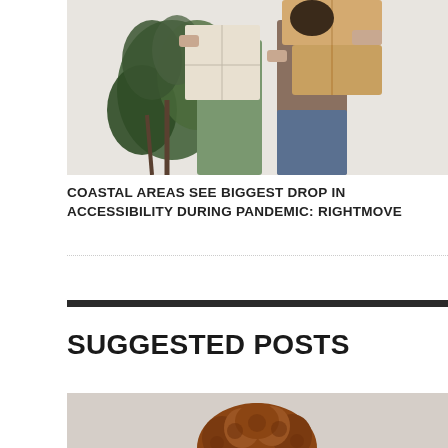[Figure (photo): Two people carrying large cardboard moving boxes in front of a light gray wall with a large green leafy plant.]
COASTAL AREAS SEE BIGGEST DROP IN ACCESSIBILITY DURING PANDEMIC: RIGHTMOVE
SUGGESTED POSTS
[Figure (photo): Partial photo showing the top of a person's head with curly auburn/brown hair against a light gray background.]